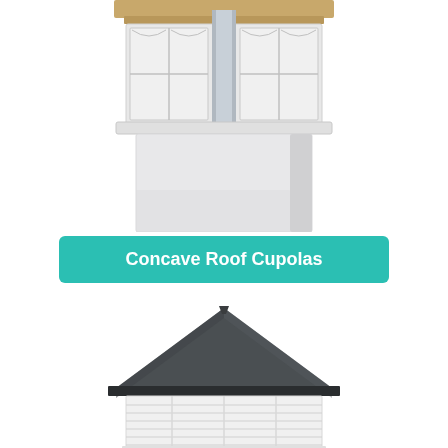[Figure (photo): Close-up of a white vinyl cupola with arched windows and horizontal siding base, cropped at top showing partial brown roof]
Concave Roof Cupolas
[Figure (photo): White louvered cupola with dark gray/charcoal pyramid roof, partially cropped at bottom]